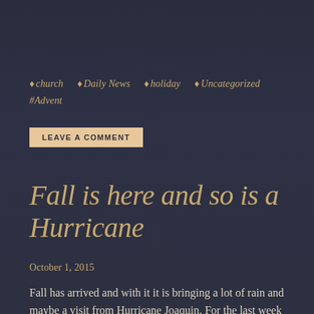♦ church  ♦ Daily News  ♦ holiday  ♦ Uncategorized  #Advent
LEAVE A COMMENT
Fall is here and so is a Hurricane
October 1, 2015
Fall has arrived and with it it is bringing a lot of rain and maybe a visit from Hurricane Joaquin. For the last week we have had endless rain and